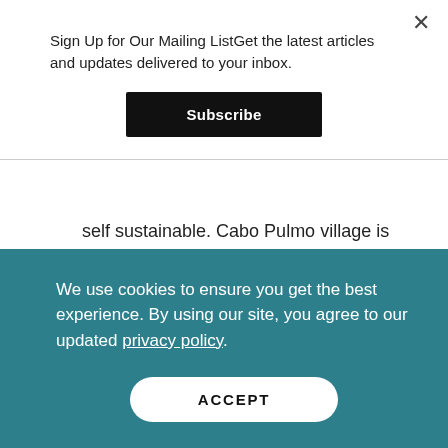Sign Up for Our Mailing ListGet the latest articles and updates delivered to your inbox.
Subscribe
self sustainable. Cabo Pulmo village is a delightful sleepy town with no electric service, 10 km of dirt road access and a 1.5 hour drive from tourist hotspot Cabo San Lucas. It is a stunning location for a truly remote retreat overlooking the beach.
We use cookies to ensure you get the best experience. By using our site, you agree to our updated privacy policy.
ACCEPT